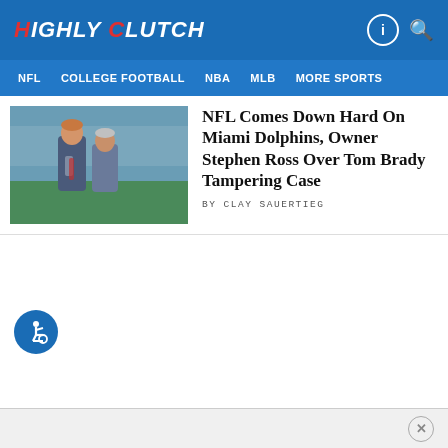HIGHLY CLUTCH
NFL  COLLEGE FOOTBALL  NBA  MLB  MORE SPORTS
[Figure (photo): Two men in suits talking on a football field sideline]
NFL Comes Down Hard On Miami Dolphins, Owner Stephen Ross Over Tom Brady Tampering Case
BY CLAY SAUERTIEG
[Figure (other): Accessibility icon - wheelchair user symbol in blue circle]
[Figure (other): Close/dismiss button X in circle at bottom right of ad bar]